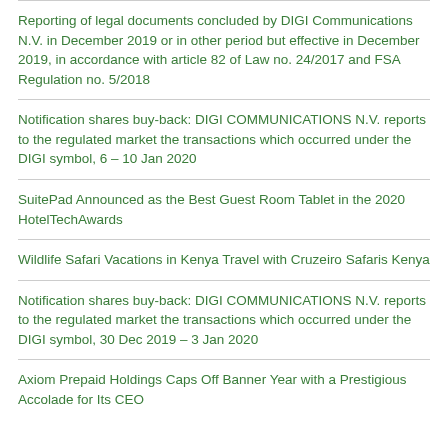Reporting of legal documents concluded by DIGI Communications N.V. in December 2019 or in other period but effective in December 2019, in accordance with article 82 of Law no. 24/2017 and FSA Regulation no. 5/2018
Notification shares buy-back: DIGI COMMUNICATIONS N.V. reports to the regulated market the transactions which occurred under the DIGI symbol, 6 – 10 Jan 2020
SuitePad Announced as the Best Guest Room Tablet in the 2020 HotelTechAwards
Wildlife Safari Vacations in Kenya Travel with Cruzeiro Safaris Kenya
Notification shares buy-back: DIGI COMMUNICATIONS N.V. reports to the regulated market the transactions which occurred under the DIGI symbol, 30 Dec 2019 – 3 Jan 2020
Axiom Prepaid Holdings Caps Off Banner Year with a Prestigious Accolade for Its CEO